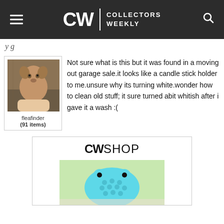CW | COLLECTORS WEEKLY
Not sure what is this but it was found in a moving out garage sale.it looks like a candle stick holder to me.unsure why its turning white.wonder how to clean old stuff; it sure turned abit whitish after i gave it a wash :(
fleafinder
(91 items)
[Figure (photo): Profile photo of user fleafinder showing a small brown/golden puppy being held up by a person's hands outdoors]
[Figure (logo): CW SHOP logo]
[Figure (photo): Blue bumpy textured toy or object (possibly a frog-shaped item) with some green plants in the background]